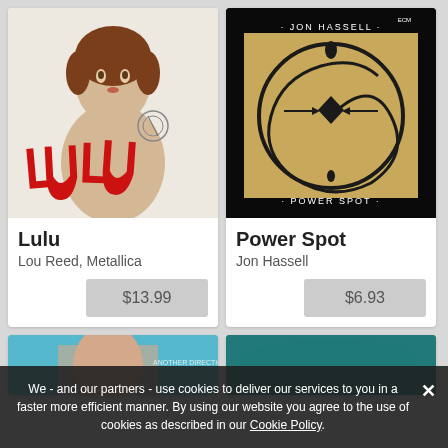[Figure (photo): Album cover for Lulu by Lou Reed and Metallica. Features a mannequin torso with the word LULU in red painted letters.]
Lulu
Lou Reed, Metallica
$13.99
[Figure (photo): Album cover for Power Spot by Jon Hassell. Black background with a spiral snake design on a tan/gold background, text reads JON HASSELL at top and POWER SPOT at bottom.]
Power Spot
Jon Hassell
$6.93
[Figure (photo): Partial album cover visible at bottom left with cyan/blue coloring]
[Figure (photo): Partial album cover visible at bottom right with teal/dark green coloring]
We - and our partners - use cookies to deliver our services to you in a faster more efficient manner. By using our website you agree to the use of cookies as described in our Cookie Policy.